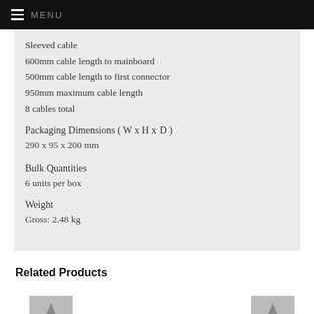MENU
Sleeved cable
600mm cable length to mainboard
500mm cable length to first connector
950mm maximum cable length
8 cables total
Packaging Dimensions ( W x H x D )
290 x 95 x 200 mm
Bulk Quantities
6 units per box
Weight
Gross: 2.48 kg
Related Products